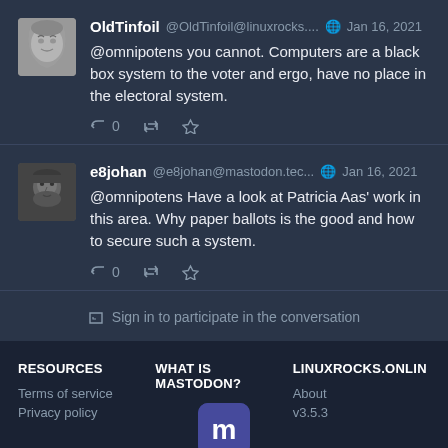OldTinfoil @OldTinfoil@linuxrocks.... Jan 16, 2021
@omnipotens you cannot. Computers are a black box system to the voter and ergo, have no place in the electoral system.
e8johan @e8johan@mastodon.tec... Jan 16, 2021
@omnipotens Have a look at Patricia Aas' work in this area. Why paper ballots is the good and how to secure such a system.
Sign in to participate in the conversation
RESOURCES
Terms of service
Privacy policy
WHAT IS MASTODON?
[Figure (logo): Mastodon logo - letter M in white on rounded square]
LINUXROCKS.ONLIN
About
v3.5.3